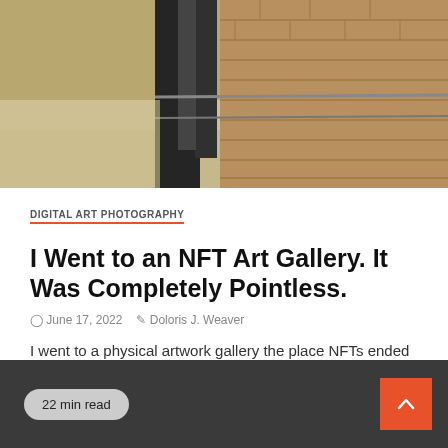[Figure (photo): Interior of an art gallery with a concrete floor, dark display structures/curtains, and a brick wall on the right side]
DIGITAL ART PHOTOGRAPHY
I Went to an NFT Art Gallery. It Was Completely Pointless.
June 17, 2022   Doloris J. Weaver
I went to a physical artwork gallery the place NFTs ended up exhibited on Television set screens. I noticed cartoon-like...
22 min read